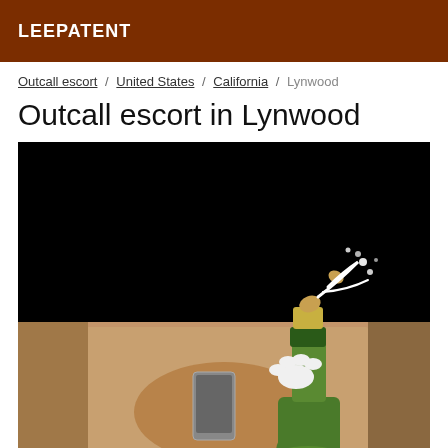LEEPATENT
Outcall escort / United States / California / Lynwood
Outcall escort in Lynwood
[Figure (photo): Photo showing a person taking a selfie in a mirror, with a champagne bottle emoji overlaid in the foreground. The upper portion of the image is blacked out. The lower portion shows the person's torso and the large animated champagne bottle with cork popping.]